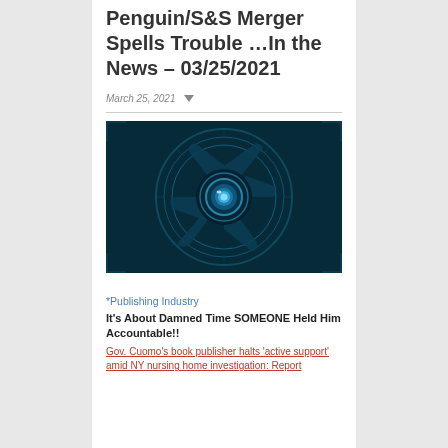Penguin/S&S Merger Spells Trouble …In the News – 03/25/2021
March 25, 2021
[Figure (photo): Dark teal/blue digital camera aperture or lens shutter, stylized sci-fi surveillance eye graphic on dark background]
*Publishing Industry
It's About Damned Time SOMEONE Held Him Accountable!!
Gov. Cuomo's book publisher halts 'active support' amid NY nursing home investigation: Report